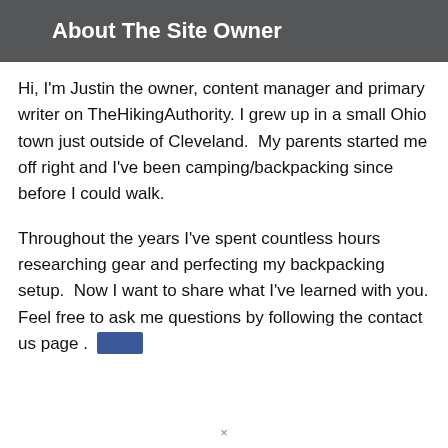About The Site Owner
Hi, I'm Justin the owner, content manager and primary writer on TheHikingAuthority. I grew up in a small Ohio town just outside of Cleveland.  My parents started me off right and I've been camping/backpacking since before I could walk.
Throughout the years I've spent countless hours researching gear and perfecting my backpacking setup.  Now I want to share what I've learned with you. Feel free to ask me questions by following the contact us page . .